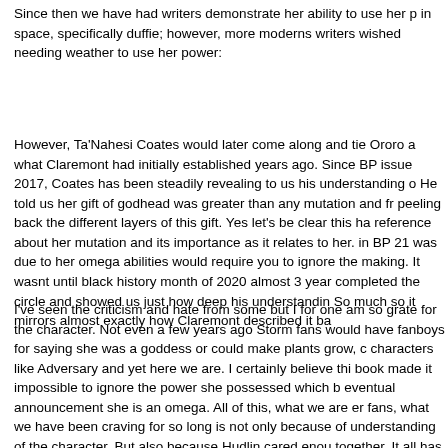Since then we have had writers demonstrate her ability to use her power in space, specifically duffie; however, more moderns writers wished needing weather to use her power:
However, Ta'Nahesi Coates would later come along and tie Ororo a what Claremont had initially established years ago. Since BP issue 2017, Coates has been steadily revealing to us his understanding o He told us her gift of godhead was greater than any mutation and fr peeling back the different layers of this gift. Yes let's be clear this ha reference about her mutation and its importance as it relates to her. in BP 21 was due to her omega abilities would require you to ignore the making. It wasnt until black history month of 2020 almost 3 year completed the circle and showed us just how deep his understandin So much so it mirrors almost exactly how Claremont described it ba
I've seen the criticism and hate from some but I for one am so grate for the character. Not even a few years ago Storm fans would have fanboys for saying she was a goddess or could make plants grow, c characters like Adversary and yet here we are. I certainly believe thi book made it impossible to ignore the power she possessed which b eventual announcement she is an omega. All of this, what we are er fans, what we have been craving for so long is not only because of understanding of the character. But also because Hudlin cared enou together. It all has brought her to the deliciousness we have now. So I thank and appreciate what Coates has done for this character and positively impact her growth for the many years to come. Who woul